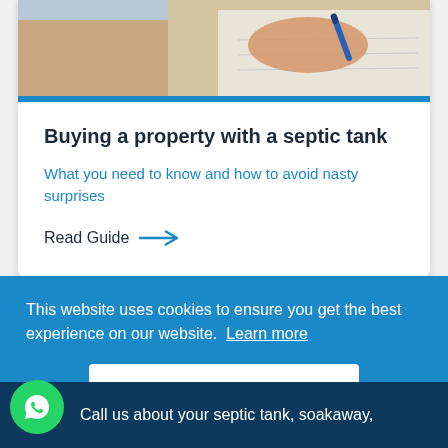[Figure (photo): Photo of a hand holding a blue pen, writing on a document, partial view cropped at top]
Buying a property with a septic tank
What you need to know and how to avoid nasty surprises
Read Guide →
This website uses cookies to ensure you get the best experience on our website. Learn more
Got it!
Call us about your septic tank, soakaway,